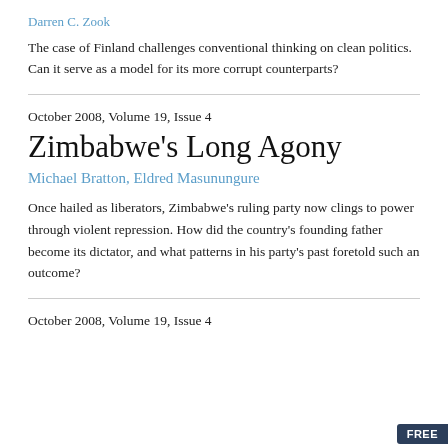Darren C. Zook
The case of Finland challenges conventional thinking on clean politics. Can it serve as a model for its more corrupt counterparts?
October 2008, Volume 19, Issue 4
Zimbabwe's Long Agony
Michael Bratton, Eldred Masunungure
Once hailed as liberators, Zimbabwe's ruling party now clings to power through violent repression. How did the country's founding father become its dictator, and what patterns in his party's past foretold such an outcome?
October 2008, Volume 19, Issue 4